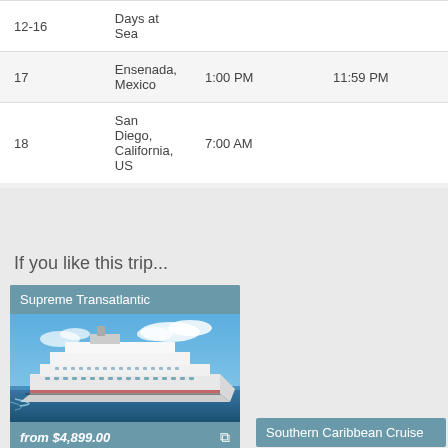| Day | Port | Arrival | Departure |
| --- | --- | --- | --- |
| 12-16 | Days at Sea |  |  |
| 17 | Ensenada, Mexico | 1:00 PM | 11:59 PM |
| 18 | San Diego, California, US | 7:00 AM |  |
If you like this trip...
[Figure (photo): Cruise ship card titled 'Supreme Transatlantic' showing a large white cruise ship on blue water, priced from $4,899.00]
Southern Caribbean Cruise